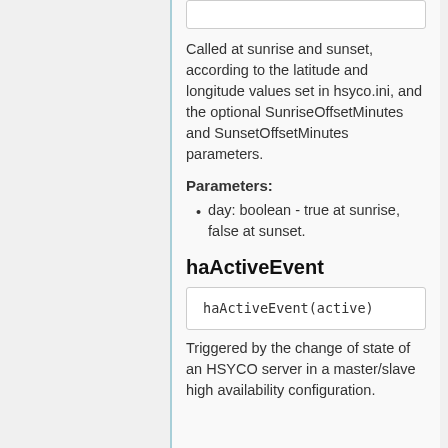| ... |
Called at sunrise and sunset, according to the latitude and longitude values set in hsyco.ini, and the optional SunriseOffsetMinutes and SunsetOffsetMinutes parameters.
Parameters:
day: boolean - true at sunrise, false at sunset.
haActiveEvent
| haActiveEvent(active) |
Triggered by the change of state of an HSYCO server in a master/slave high availability configuration.